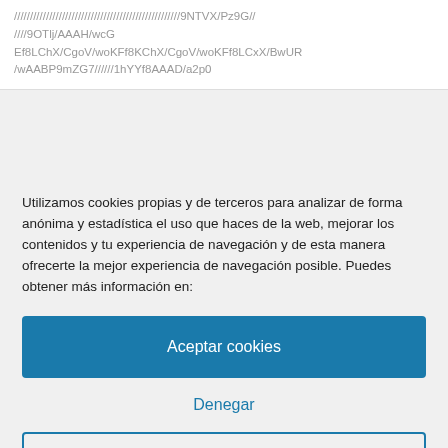////////////////////////////////////////////////////9NTVX/Pz9G/////9OTlj/AAAH/wcGEf8LChX/CgoV/woKFf8KChX/CgoV/woKFf8LCxX/BwUR/wAABP9mZG7//////1hYYf8AAAD/a2p0
Utilizamos cookies propias y de terceros para analizar de forma anónima y estadística el uso que haces de la web, mejorar los contenidos y tu experiencia de navegación y de esta manera ofrecerte la mejor experiencia de navegación posible. Puedes obtener más información en:
Aceptar cookies
Denegar
Ver preferencias
Política de cookies  Política de privacidad